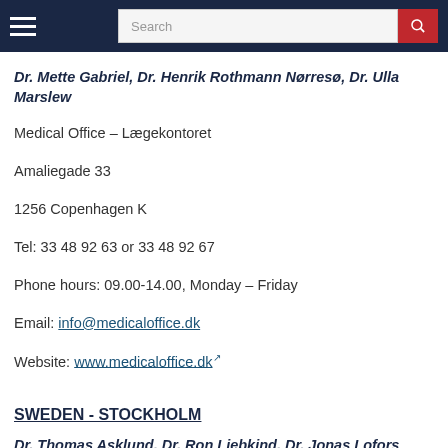Search
Dr. Mette Gabriel, Dr. Henrik Rothmann Nørresø, Dr. Ulla Marslew
Medical Office – Lægekontoret
Amaliegade 33
1256 Copenhagen K
Tel: 33 48 92 63 or 33 48 92 67
Phone hours: 09.00-14.00, Monday – Friday
Email: info@medicaloffice.dk
Website: www.medicaloffice.dk
SWEDEN - STOCKHOLM
Dr. Thomas Asklund, Dr. Ron Liebkind, Dr. Jonas Lofors
Sibyllekliniken Östermalm
Karlavägen 56
114 49 Stockholm
Email: Visumintyg@sibyllekliniken.se (preferred way to schedule medical appointment)